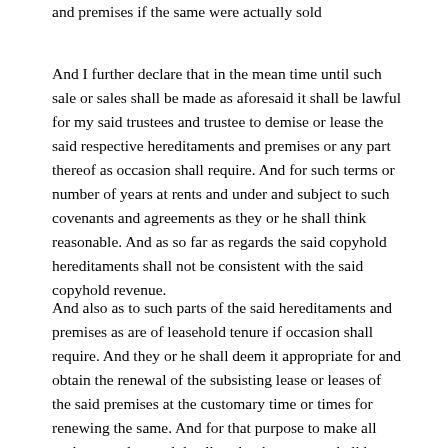and premises if the same were actually sold
And I further declare that in the mean time until such sale or sales shall be made as aforesaid it shall be lawful for my said trustees and trustee to demise or lease the said respective hereditaments and premises or any part thereof as occasion shall require. And for such terms or number of years at rents and under and subject to such covenants and agreements as they or he shall think reasonable. And as so far as regards the said copyhold hereditaments shall not be consistent with the said copyhold revenue.
And also as to such parts of the said hereditaments and premises as are of leasehold tenure if occasion shall require. And they or he shall deem it appropriate for and obtain the renewal of the subsisting lease or leases of the said premises at the customary time or times for renewing the same. And for that purpose to make all such surrenders and do all such other acts as shall be herepary? In that behalf and to take such renewed lease or leases in them or his own names or name or in such